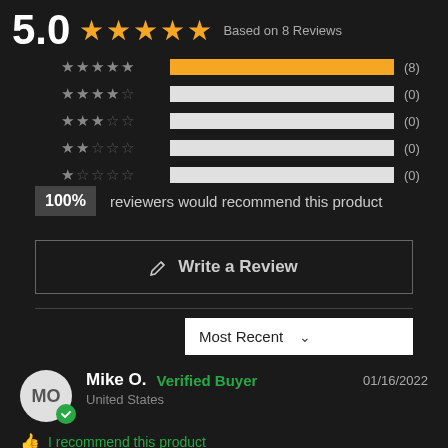5.0 ★★★★★ Based on 8 Reviews
[Figure (bar-chart): Rating distribution]
100% reviewers would recommend this product
✎  Write a Review
Most Recent
Mike O.  Verified Buyer  01/16/2022  United States
I recommend this product